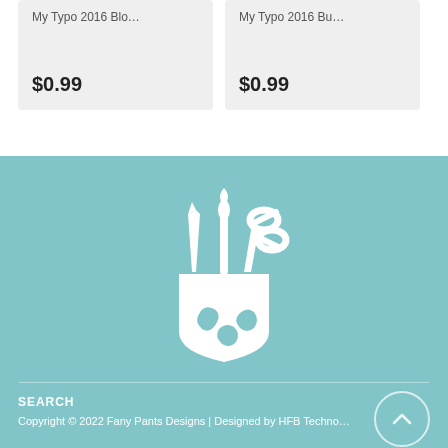My Typo 2016 Blo... $0.99
My Typo 2016 Bu... $0.99
[Figure (logo): White shield/crest logo with artistic tools (paintbrush, scissors, pencil) emerging from top on teal background — Fany Pants Designs logo]
SEARCH
Copyright © 2022 Fany Pants Designs | Designed by HFB Techno...